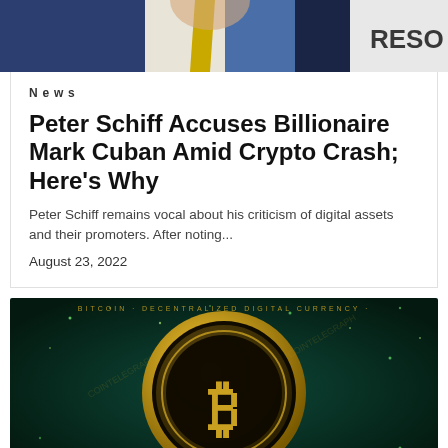[Figure (photo): Top portion of a photo showing a man in a blue suit with a yellow tie, with text 'RESO' partially visible on right side background]
News
Peter Schiff Accuses Billionaire Mark Cuban Amid Crypto Crash; Here's Why
Peter Schiff remains vocal about his criticism of digital assets and their promoters. After noting...
August 23, 2022
[Figure (photo): Dark teal/green background with glowing gold Bitcoin coin featuring the Bitcoin B symbol and circuit board designs, with scattered light particles. Text around the coin reads 'BITCOIN - DECENTRALIZED DIGITAL CURRENCY - DECENTRALIZED DIGITAL CURRENCY - BITCOIN'.]